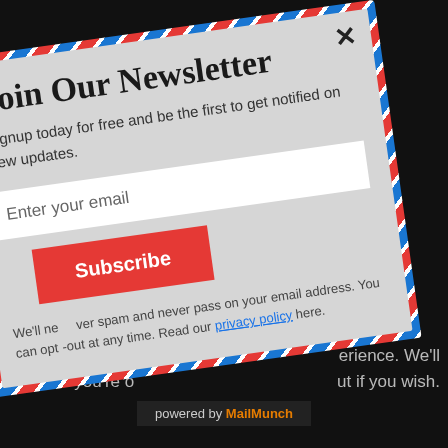Join Our Newsletter
Signup today for free and be the first to get notified on new updates.
Enter your email
Subscribe
We'll never spam and never pass on your email address. You can opt-out at any time. Read our privacy policy here.
powered by MailMunch